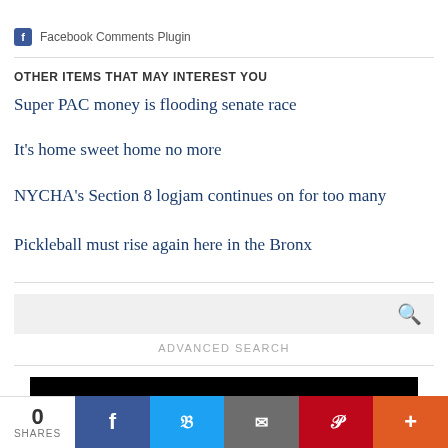Facebook Comments Plugin
OTHER ITEMS THAT MAY INTEREST YOU
Super PAC money is flooding senate race
It's home sweet home no more
NYCHA's Section 8 logjam continues on for too many
Pickleball must rise again here in the Bronx
ADVANCED SEARCH
[Figure (other): Black advertisement banner]
0 SHARES | Facebook | Twitter | Email | Pinterest | More